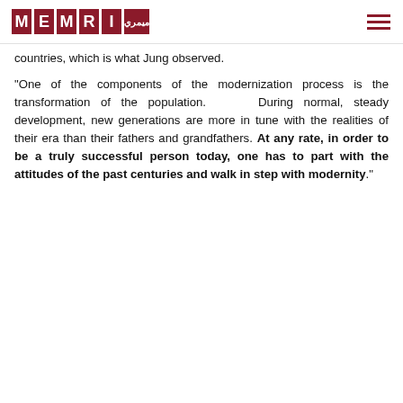[Figure (logo): MEMRI logo with red square tiles spelling M E M R I with Arabic text]
countries, which is what Jung observed.
"One of the components of the modernization process is the transformation of the population. During normal, steady development, new generations are more in tune with the realities of their era than their fathers and grandfathers. At any rate, in order to be a truly successful person today, one has to part with the attitudes of the past centuries and walk in step with modernity."